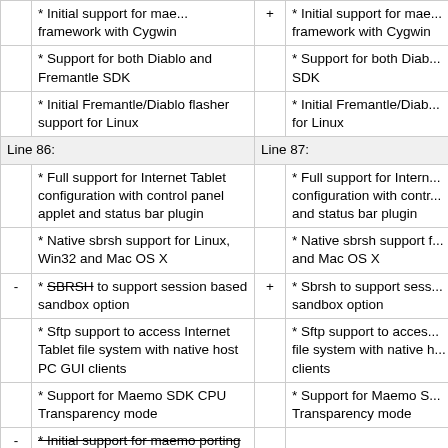|  | * Initial support for maemo porting framework with Cygwin | + | * Initial support for maemo porting framework with Cygwin |
|  | * Support for both Diablo and Fremantle SDK |  | * Support for both Diablo and Fremantle SDK |
|  | * Initial Fremantle/Diablo flasher support for Linux |  | * Initial Fremantle/Diablo flasher support for Linux |
| Line 86: |  | Line 87: |  |
|  | * Full support for Internet Tablet configuration with control panel applet and status bar plugin |  | * Full support for Internet Tablet configuration with control panel applet and status bar plugin |
|  | * Native sbrsh support for Linux, Win32 and Mac OS X |  | * Native sbrsh support for Linux, Win32 and Mac OS X |
| - | * SBRSH to support session based sandbox option | + | * Sbrsh to support session based sandbox option |
|  | * Sftp support to access Internet Tablet file system with native host PC GUI clients |  | * Sftp support to access Internet Tablet file system with native host PC GUI clients |
|  | * Support for Maemo SDK CPU Transparency mode |  | * Support for Maemo SDK CPU Transparency mode |
| - | * Initial support for maemo porting framework with Cygwin |  |  |
|  | * Support for installing Host PC Connectivity components for Linux, |  | * Support for installing Host PC Connectivity components for Linux, |